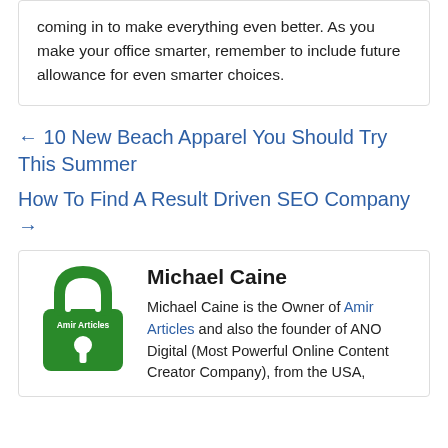coming in to make everything even better. As you make your office smarter, remember to include future allowance for even smarter choices.
← 10 New Beach Apparel You Should Try This Summer
How To Find A Result Driven SEO Company →
[Figure (logo): Green padlock logo with 'Amir Articles' text and keyhole cutout]
Michael Caine
Michael Caine is the Owner of Amir Articles and also the founder of ANO Digital (Most Powerful Online Content Creator Company), from the USA,